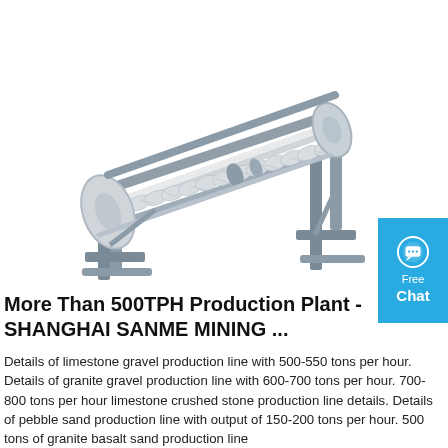[Figure (photo): Photo of an industrial conveyor belt machine with grey metal frame, white belt with corrugated sidewalls/cleats, mounted on grey structural supports. Partially visible on a white background.]
More Than 500TPH Production Plant -SHANGHAI SANME MINING ...
Details of limestone gravel production line with 500-550 tons per hour. Details of granite gravel production line with 600-700 tons per hour. 700-800 tons per hour limestone crushed stone production line details. Details of pebble sand production line with output of 150-200 tons per hour. 500 tons of granite basalt sand production line